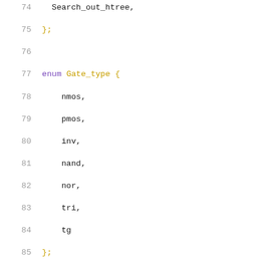74    Search_out_htree,
75  };
76
77  enum Gate_type {
78      nmos,
79      pmos,
80      inv,
81      nand,
82      nor,
83      tri,
84      tg
85  };
86
87  enum Half_net_topology {
88      parallel,
89      series
90  };
91
92  double logtwo (double x);
93
94  double gate_C(
95      double width